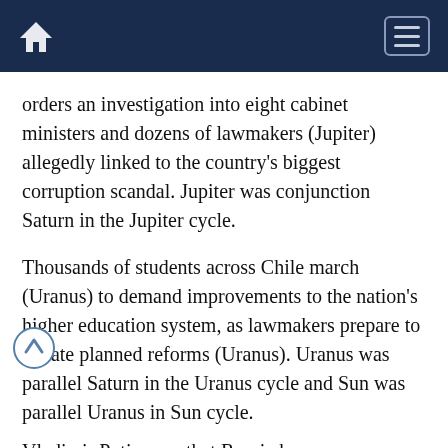Navigation bar with home icon and menu button
orders an investigation into eight cabinet ministers and dozens of lawmakers (Jupiter) allegedly linked to the country's biggest corruption scandal. Jupiter was conjunction Saturn in the Jupiter cycle.
Thousands of students across Chile march (Uranus) to demand improvements to the nation's higher education system, as lawmakers prepare to debate planned reforms (Uranus). Uranus was parallel Saturn in the Uranus cycle and Sun was parallel Uranus in Sun cycle.
Vladimir Putin says that Russia has